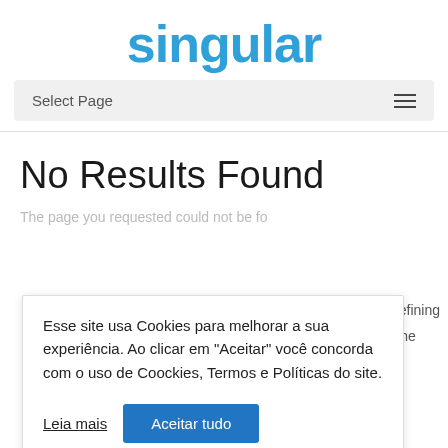singular
Select Page
No Results Found
The page you requested could not be found. Try refining your search, or use the navigation above to locate the post.
Esse site usa Cookies para melhorar a sua experiência. Ao clicar em "Aceitar" você concorda com o uso de Coockies, Termos e Políticas do site.
Leia mais  Aceitar tudo